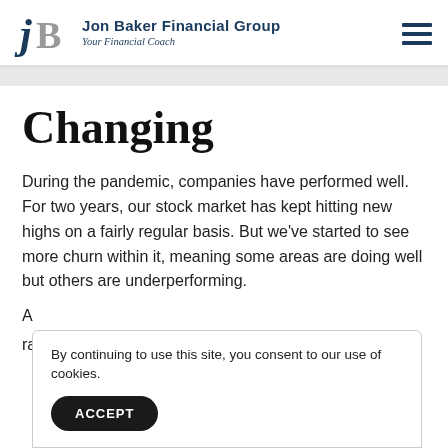Jon Baker Financial Group — Your Financial Coach
Changing
During the pandemic, companies have performed well. For two years, our stock market has kept hitting new highs on a fairly regular basis. But we've started to see more churn within it, meaning some areas are doing well but others are underperforming.
By continuing to use this site, you consent to our use of cookies.
ACCEPT